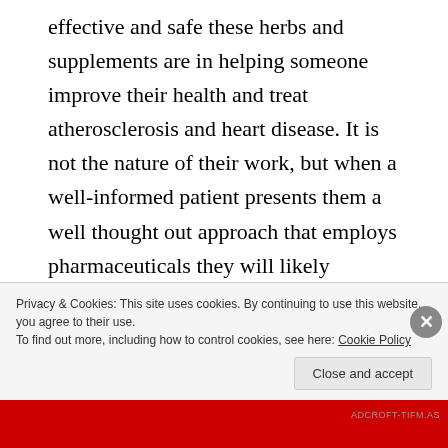effective and safe these herbs and supplements are in helping someone improve their health and treat atherosclerosis and heart disease. It is not the nature of their work, but when a well-informed patient presents them a well thought out approach that employs pharmaceuticals they will likely become more informed about them and potentially be open to using them as part of a safe and effective course of action for primary prevention, and even many secondary prevention patients.  Herbs have been around for thousands of years before pharmaceuticals, and there may be some real potential there for some help.
Privacy & Cookies: This site uses cookies. By continuing to use this website, you agree to their use.
To find out more, including how to control cookies, see here: Cookie Policy